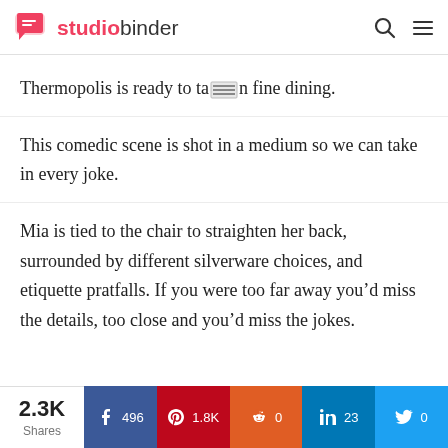studiobinder
Thermopolis is ready to take on fine dining.
This comedic scene is shot in a medium so we can take in every joke.
Mia is tied to the chair to straighten her back, surrounded by different silverware choices, and etiquette pratfalls. If you were too far away you’d miss the details, too close and you’d miss the jokes.
2.3K Shares | Facebook 496 | Pinterest 1.8K | Reddit 0 | LinkedIn 23 | Twitter 0